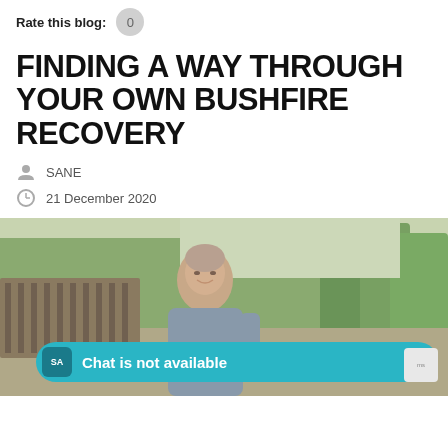Rate this blog: 0
FINDING A WAY THROUGH YOUR OWN BUSHFIRE RECOVERY
SANE
21 December 2020
[Figure (photo): Middle-aged man outdoors in front of damaged/burnt structures and trees, smiling slightly. A chat overlay bar reads 'Chat is not available'.]